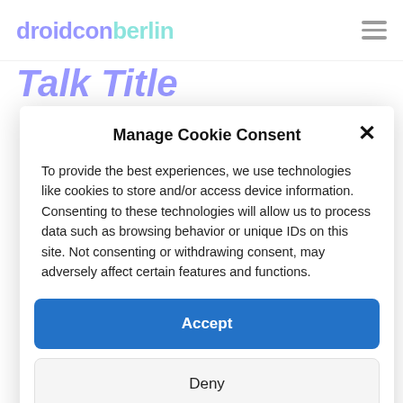droidconberlin
Talk Title
Manage Cookie Consent
To provide the best experiences, we use technologies like cookies to store and/or access device information. Consenting to these technologies will allow us to process data such as browsing behavior or unique IDs on this site. Not consenting or withdrawing consent, may adversely affect certain features and functions.
Accept
Deny
View preferences